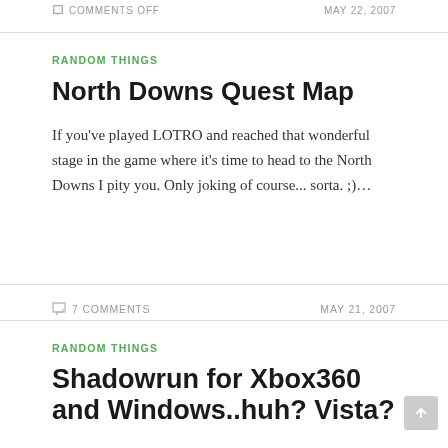COMMENTS OFF | MAY 22, 2007
RANDOM THINGS
North Downs Quest Map
If you've played LOTRO and reached that wonderful stage in the game where it's time to head to the North Downs I pity you. Only joking of course... sorta. ;)…
7 COMMENTS | MAY 21, 2007
RANDOM THINGS
Shadowrun for Xbox360 and Windows..huh? Vista?